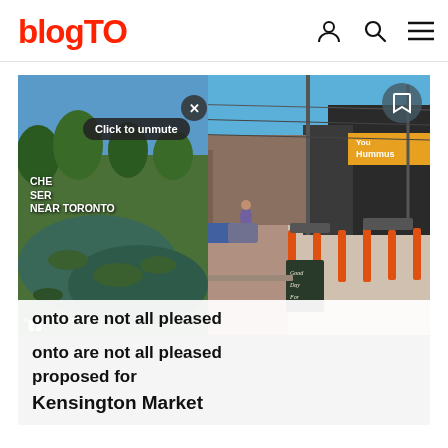blogTO
[Figure (screenshot): Street scene of Kensington Market, Toronto. A pedestrian street with utility poles, overhead wires, orange bollards, and a 'You Hummus' restaurant on the right. A chalkboard sign reads 'Good Day For'. Blue sky background. Overlaid on the left is a video thumbnail showing a green wetland/marsh area with text 'CHE... SER... NEAR TORONTO' and a 'Click to unmute' button. A close (X) button and pause button are visible. Top right of main image has a bookmark icon. Bottom of image has a white headline bar.]
onto are not all pleased with changes proposed for Kensington Market